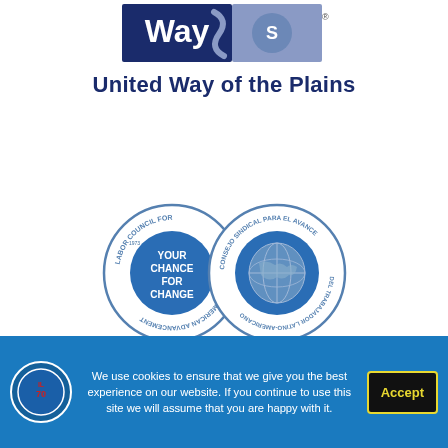[Figure (logo): United Way logo showing 'Way' text with blue and lavender swoosh/hand design]
United Way of the Plains
[Figure (logo): LCLAA dual seal logo: left seal reads 'Labor Council for Latin American Advancement' with 'YOUR CHANCE FOR CHANGE' center text; right seal reads 'Consejo Sindical Para El Avance Del Trabajador Latino-Americano' with globe graphic]
LCLAA
We use cookies to ensure that we give you the best experience on our website. If you continue to use this site we will assume that you are happy with it.